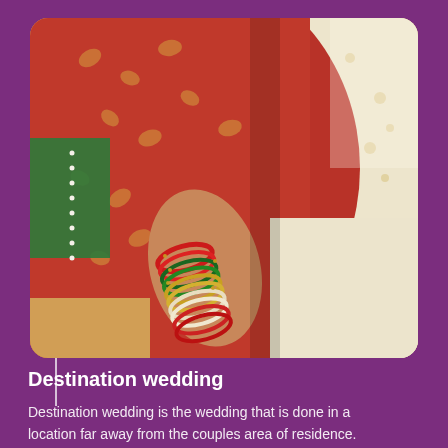[Figure (photo): Close-up photo of an Indian bride and groom at a wedding. The bride is wearing a red and gold ornate saree with green trim and pearl border. Her arm is adorned with multiple colorful bangles in red, green, and gold. The groom is wearing a cream/white embroidered sherwani. Their hands are close together suggesting a ritual exchange.]
Destination wedding
Destination wedding is the wedding that is done in a location far away from the couples area of residence.